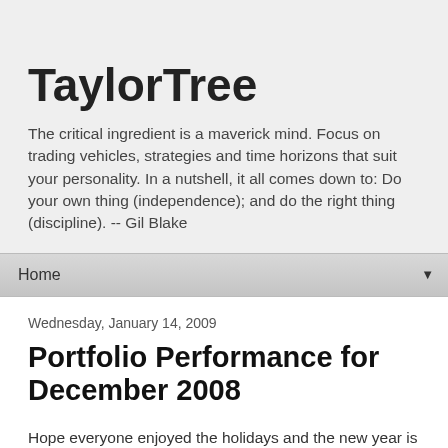TaylorTree
The critical ingredient is a maverick mind. Focus on trading vehicles, strategies and time horizons that suit your personality. In a nutshell, it all comes down to: Do your own thing (independence); and do the right thing (discipline). -- Gil Blake
Home
Wednesday, January 14, 2009
Portfolio Performance for December 2008
Hope everyone enjoyed the holidays and the new year is treating you right.